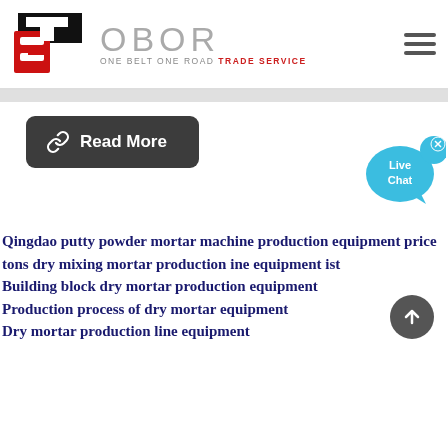[Figure (logo): OBOR Trade Service logo with TS graphic mark in red and black, and 'OBOR ONE BELT ONE ROAD TRADE SERVICE' text]
[Figure (other): Read More button with chain-link icon on dark gray rounded rectangle background]
[Figure (other): Live Chat bubble icon in cyan/blue with 'Live Chat' text and X close button]
Qingdao putty powder mortar machine production equipment price
tons dry mixing mortar production ine equipment ist
Building block dry mortar production equipment
Production process of dry mortar equipment
Dry mortar production line equipment